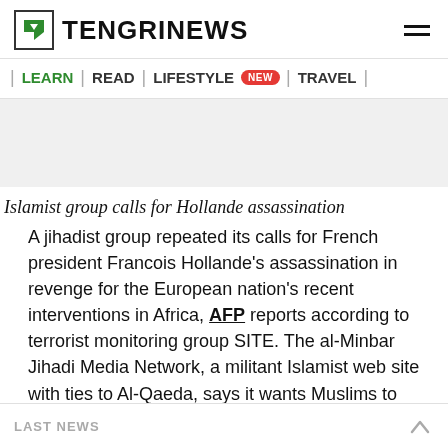TENGRINEWS
| LEARN | READ | LIFESTYLE NEW | TRAVEL |
[Figure (other): Gray advertisement/banner area]
Islamist group calls for Hollande assassination
A jihadist group repeated its calls for French president Francois Hollande's assassination in revenge for the European nation's recent interventions in Africa, AFP reports according to terrorist monitoring group SITE. The al-Minbar Jihadi Media Network, a militant Islamist web site with ties to Al-Qaeda, says it wants Muslims to stage attacks in France and on French interests elsewhere in support of Muslims in Central African Republic and Mali
LAST NEWS